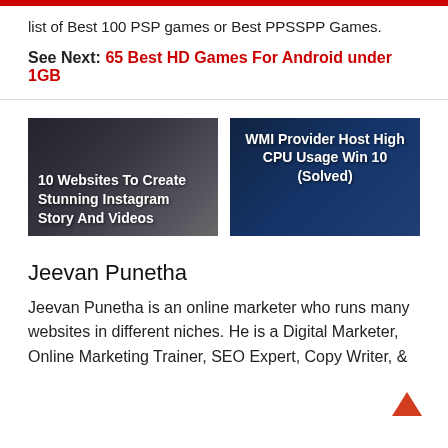list of Best 100 PSP games or Best PPSSPP Games.
See Next: 65 Best HD Games For Android under 1GB
[Figure (screenshot): Thumbnail image: 10 Websites To Create Stunning Instagram Story And Videos]
[Figure (screenshot): Thumbnail image: WMI Provider Host High CPU Usage Win 10 (Solved)]
Jeevan Punetha
Jeevan Punetha is an online marketer who runs many websites in different niches. He is a Digital Marketer, Online Marketing Trainer, SEO Expert, Copy Writer, &